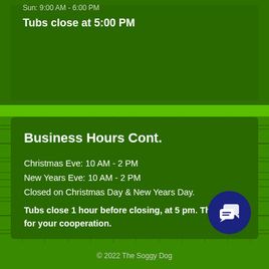Sun: 9:00 AM - 6:00 PM
Tubs close at 5:00 PM
Business Hours Cont.
Christmas Eve: 10 AM - 2 PM
New Years Eve: 10 AM - 2 PM
Closed on Christmas Day & New Years Day.
Tubs close 1 hour before closing, at 5 pm. Thank you for your cooperation.
© 2022 The Soggy Dog